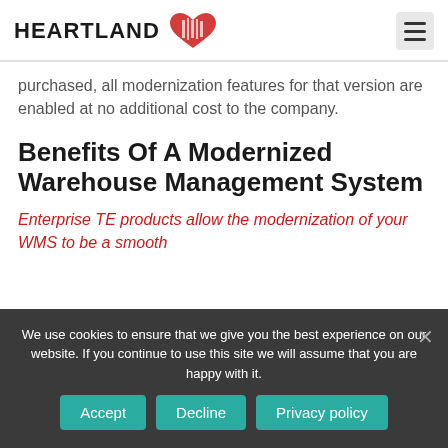HEARTLAND [logo]
purchased, all modernization features for that version are enabled at no additional cost to the company.
Benefits Of A Modernized Warehouse Management System
Enterprise TE products allow the modernization of your WMS to be a smooth
We use cookies to ensure that we give you the best experience on our website. If you continue to use this site we will assume that you are happy with it.